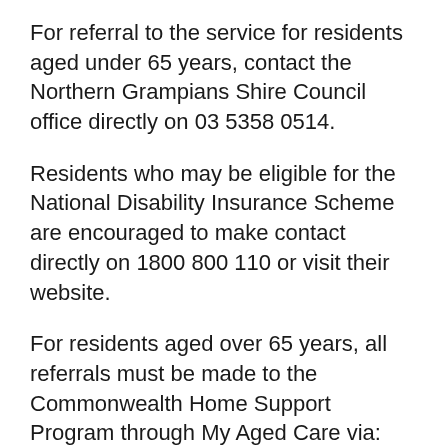For referral to the service for residents aged under 65 years, contact the Northern Grampians Shire Council office directly on 03 5358 0514.
Residents who may be eligible for the National Disability Insurance Scheme are encouraged to make contact directly on 1800 800 110 or visit their website.
For residents aged over 65 years, all referrals must be made to the Commonwealth Home Support Program through My Aged Care via:
Phone: 1800 200 422
Website: http://www.myagedcare.gov.au/